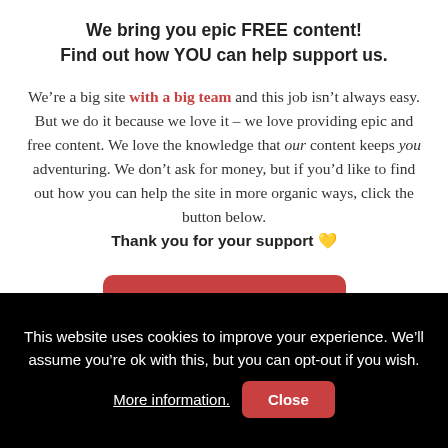We bring you epic FREE content!
Find out how YOU can help support us.
We’re a big site with a big team and this job isn’t always easy. But we do it because we love it – we love providing epic and free content. We love the knowledge that our content keeps you adventuring. We don’t ask for money, but if you’d like to find out how you can help the site in more organic ways, click the button below.
Thank you for your support �
[Figure (other): Red rounded rectangle button with white bold text 'Support the Site']
This website uses cookies to improve your experience. We’ll assume you’re ok with this, but you can opt-out if you wish. More information. Close